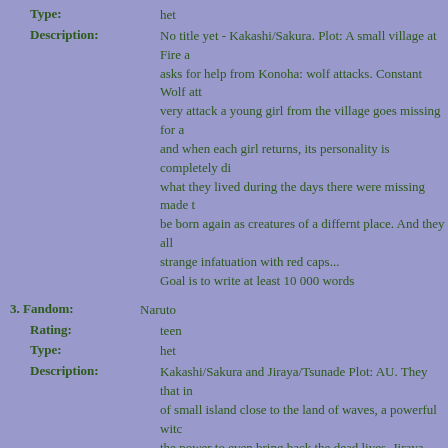Type: het
Description: No title yet - Kakashi/Sakura. Plot: A small village at Fire asks for help from Konoha: wolf attacks. Constant Wolf att very attack a young girl from the village goes missing for a and when each girl returns, its personality is completely di what they lived during the days there were missing made t be born again as creatures of a differnt place. And they all strange infatuation with red caps... Goal is to write at least 10 000 words
3. Fandom: Naruto
Rating: teen
Type: het
Description: Kakashi/Sakura and Jiraya/Tsunade Plot: AU. They that in of small island close to the land of waves, a powerful witc the power to even bring back the dead lives. Jiraya whenev those rumors doesn't know if he should laugh or cry. The w deepest wish is to bring back the dead and escape from her life. Sakura when she learns of that witch decides to go me convince her to become her teacher so no one will ever dar her. Kakashi just watches over Sakura as she decides to fin witch... among other things. I say this is AU but it is still set in the Naruto world and ma the Naruto world will continue to exist... it's more an AU o Universe. Goal is to write 7 000 words at least.